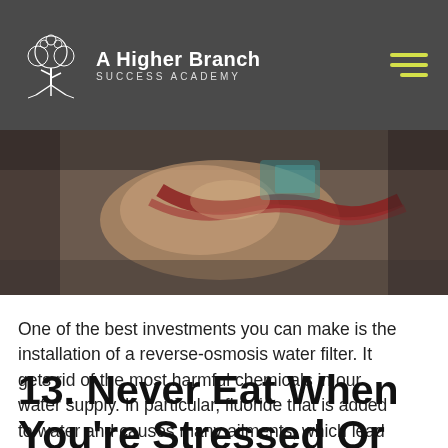A Higher Branch SUCCESS ACADEMY
[Figure (photo): Close-up photo of a person holding a water bottle or glass, with braided red rope/accessories visible, blurred background]
One of the best investments you can make is the installation of a reverse-osmosis water filter. It gets rid of the most harmful chemicals in our water supply. In particular, fluoride that is added to water and causes many ailments, which lead to premature ageing.
13. Never Eat When You're Stressed Or